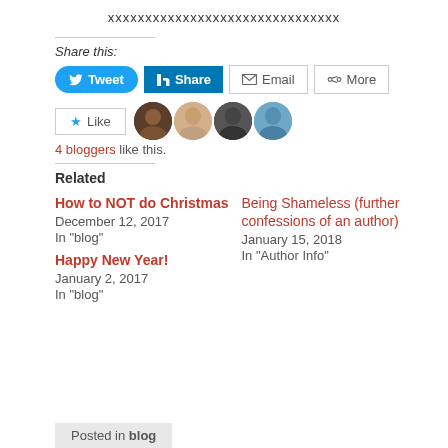xxxxxxxxxxxxxxxxxxxxxxxxxxxxxxx
Share this:
[Figure (screenshot): Social share buttons: Tweet, Share (LinkedIn), Email, More]
[Figure (screenshot): Like button with 4 blogger avatars]
4 bloggers like this.
Related
How to NOT do Christmas
December 12, 2017
In "blog"
Being Shameless (further confessions of an author)
January 15, 2018
In "Author Info"
Happy New Year!
January 2, 2017
In "blog"
Posted in blog